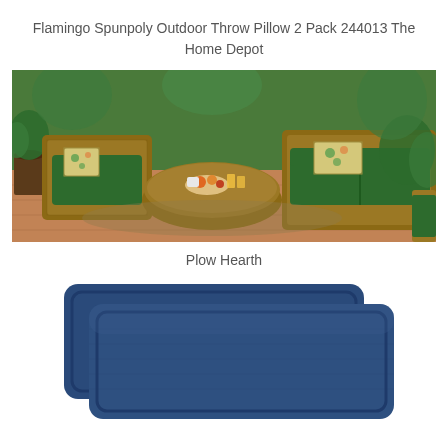Flamingo Spunpoly Outdoor Throw Pillow 2 Pack 244013 The Home Depot
[Figure (photo): Outdoor patio furniture set with wicker chairs and loveseat with green cushions, decorative flamingo throw pillows, round wicker coffee table with food and drinks, surrounded by tropical plants and greenery]
Plow Hearth
[Figure (photo): Two navy blue rectangular throw pillows with piping detail, stacked slightly offset against a white background]